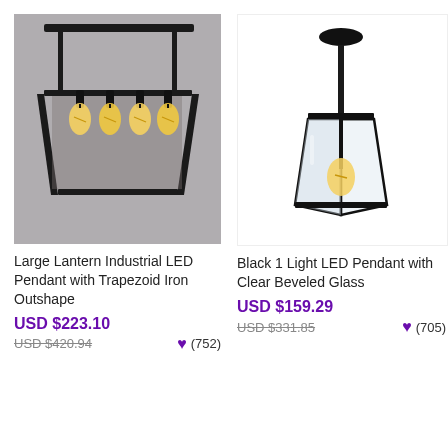[Figure (photo): Large industrial LED pendant light with trapezoid iron frame holding four Edison bulbs, photographed against a gray background]
Large Lantern Industrial LED Pendant with Trapezoid Iron Outshape
USD $223.10
USD $420.94
(752)
[Figure (photo): Black single light LED pendant with clear beveled glass panels and black metal frame, Edison bulb visible inside, on white background]
Black 1 Light LED Pendant with Clear Beveled Glass
USD $159.29
USD $331.85
(705)